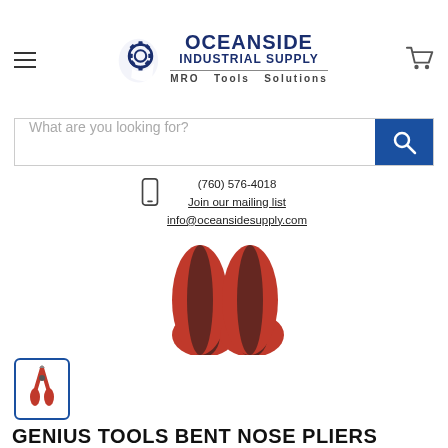[Figure (logo): Oceanside Industrial Supply logo with gear icon and tagline MRO Tools Solutions]
[Figure (screenshot): Search bar with placeholder 'What are you looking for?' and blue search button]
(760) 576-4018
Join our mailing list
info@oceansidesupply.com
[Figure (photo): Close-up of red and black plier handles from above]
[Figure (photo): Small thumbnail image of Genius Tools bent nose pliers in selected border]
GENIUS TOOLS BENT NOSE PLIERS